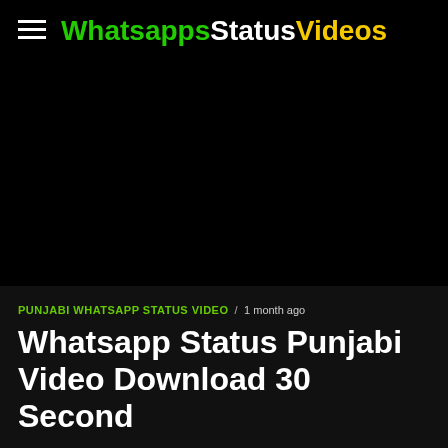WhatsappsStatusVideos
[Figure (screenshot): Large black area representing a video or image content area]
PUNJABI WHATSAPP STATUS VIDEO / 1 month ago
Whatsapp Status Punjabi Video Download 30 Second